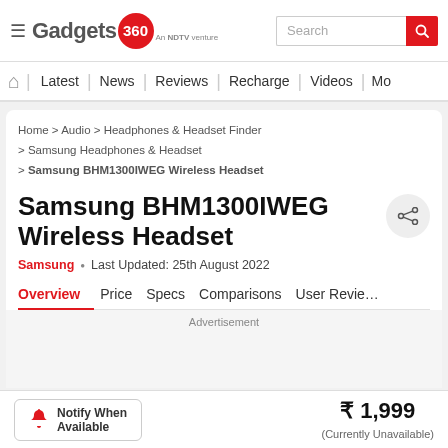Gadgets 360 — An NDTV venture | Search bar
Latest | News | Reviews | Recharge | Videos | Mo...
Home > Audio > Headphones & Headset Finder > Samsung Headphones & Headset > Samsung BHM1300IWEG Wireless Headset
Samsung BHM1300IWEG Wireless Headset
Samsung • Last Updated: 25th August 2022
Overview | Price | Specs | Comparisons | User Reviews
Advertisement
Notify When Available  ₹ 1,999 (Currently Unavailable)